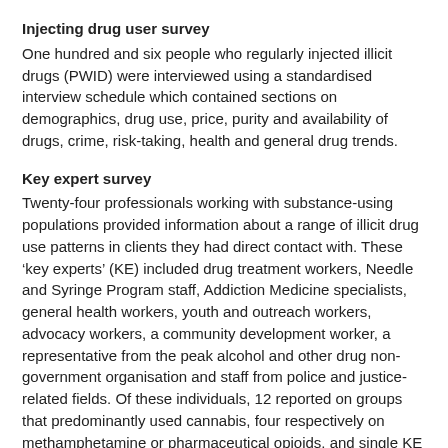Injecting drug user survey
One hundred and six people who regularly injected illicit drugs (PWID) were interviewed using a standardised interview schedule which contained sections on demographics, drug use, price, purity and availability of drugs, crime, risk-taking, health and general drug trends.
Key expert survey
Twenty-four professionals working with substance-using populations provided information about a range of illicit drug use patterns in clients they had direct contact with. These ‘key experts’ (KE) included drug treatment workers, Needle and Syringe Program staff, Addiction Medicine specialists, general health workers, youth and outreach workers, advocacy workers, a community development worker, a representative from the peak alcohol and other drug non-government organisation and staff from police and justice-related fields. Of these individuals, 12 reported on groups that predominantly used cannabis, four respectively on methamphetamine or pharmaceutical opioids, and single KE reporting on quetiapine and benzodiazepines.
Other indicators